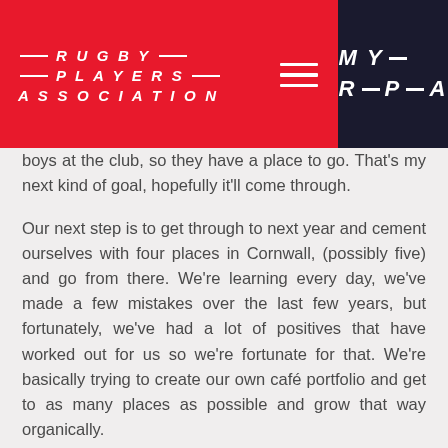[Figure (logo): Rugby Players Association logo in white on red header background]
boys at the club, so they have a place to go. That's my next kind of goal, hopefully it'll come through.
Our next step is to get through to next year and cement ourselves with four places in Cornwall, (possibly five) and go from there. We're learning every day, we've made a few mistakes over the last few years, but fortunately, we've had a lot of positives that have worked out for us so we're fortunate for that. We're basically trying to create our own café portfolio and get to as many places as possible and grow that way organically.
At the moment, we've only put our own investment in (myself and Matt), so there may come to a point where external investment is the route to go down and to even franchise the company as well. There are a lot